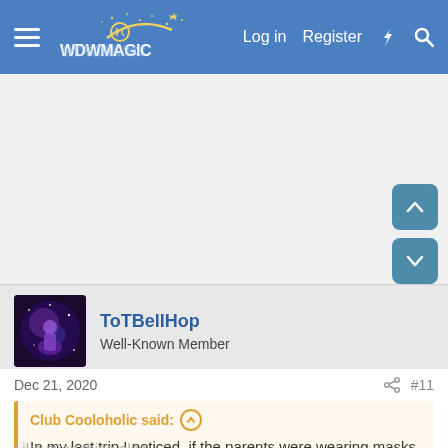WDWMAGIC — Log in   Register
[Figure (screenshot): Ad/banner placeholder area]
ToTBellHop
Well-Known Member
Dec 21, 2020   #11
Club Cooloholic said: ↑
In my last trip I noticed, if the parents were wearing masks properly, the kids did too, and I'd Mom and dad had them fitting wrong or off a lot, the kids followed suit. Parents take the lead.
Like everything else...